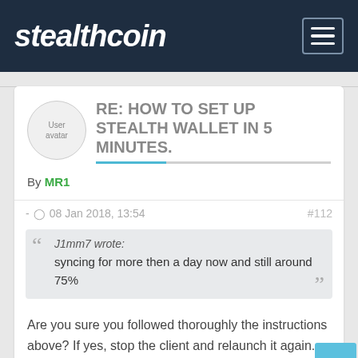stealthcoin
RE: HOW TO SET UP STEALTH WALLET IN 5 MINUTES.
By MR1
- 08 Jan 2018, 13:54  #112
J1mm7 wrote: syncing for more then a day now and still around 75%
Are you sure you followed thoroughly the instructions above? If yes, stop the client and relaunch it again.